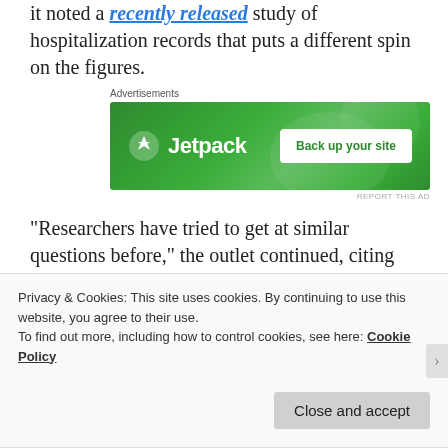it noted a recently released study of hospitalization records that puts a different spin on the figures.
[Figure (screenshot): Jetpack advertisement banner with green background, Jetpack logo and 'Back up your site' button]
“Researchers have tried to get at similar questions before,” the outlet continued, citing another study published in May by California doctors who tried to identify why children who tested positive for the coronavirus were hospitalized. According to the outlet, researchers found 40 to 45 percent were
Privacy & Cookies: This site uses cookies. By continuing to use this website, you agree to their use.
To find out more, including how to control cookies, see here: Cookie Policy